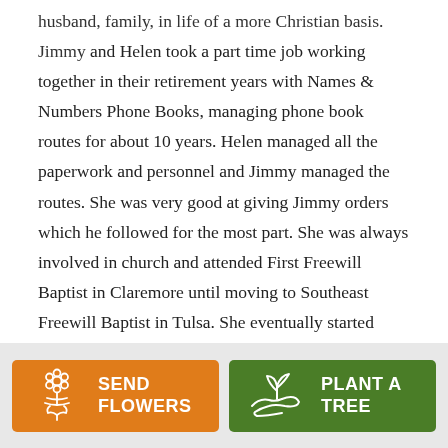husband, family, in life of a more Christian basis. Jimmy and Helen took a part time job working together in their retirement years with Names & Numbers Phone Books, managing phone book routes for about 10 years. Helen managed all the paperwork and personnel and Jimmy managed the routes.  She was very good at giving Jimmy orders which he followed for the most part.  She was always involved in church and attended First Freewill Baptist in Claremore until moving to Southeast Freewill Baptist in Tulsa. She eventually started attending Bethany Freewill Baptist in Broken Arrow where they attended until moving to
[Figure (other): Two call-to-action buttons: 'SEND FLOWERS' (orange background with flower bouquet icon) and 'PLANT A TREE' (green background with plant/hand icon)]